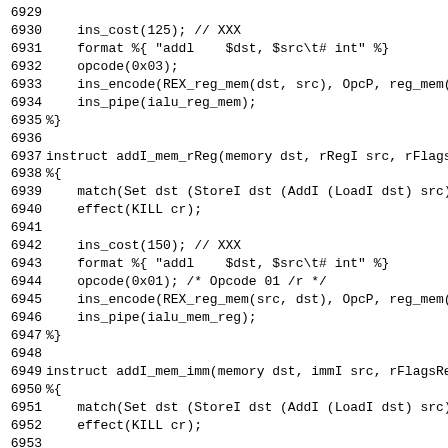Source code listing lines 6929-6958, showing instruct definitions for addI_mem_rReg and addI_mem_imm with match, effect, ins_cost, format, opcode, ins_encode, and ins_pipe directives.